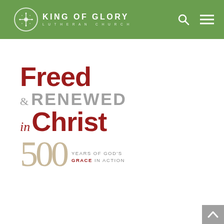KING OF GLORY LUTHERAN CHURCH
[Figure (logo): Freed & Renewed in Christ — 500 Years of God's Grace in Action reformation logo with dark red and tan colors]
[Figure (other): Gray scroll-to-top button with upward chevron arrow in bottom right corner]